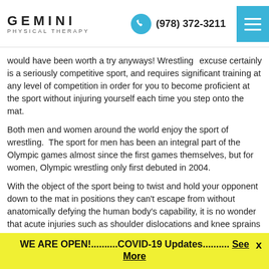GEMINI PHYSICAL THERAPY  (978) 372-3211
excuse certainly would have been worth a try anyways! Wrestling is a seriously competitive sport, and requires significant training at any level of competition in order for you to become proficient at the sport without injuring yourself each time you step onto the mat.
Both men and women around the world enjoy the sport of wrestling.  The sport for men has been an integral part of the Olympic games almost since the first games themselves, but for women, Olympic wrestling only first debuted in 2004.
With the object of the sport being to twist and hold your opponent down to the mat in positions they can't escape from without anatomically defying the human body's capability, it is no wonder that acute injuries such as shoulder dislocations and knee sprains are common! Another common wrestling injury comes from the constant friction of the mat against the head and ears, turning the
WE ARE OPEN!..........COVID-19 Updates.......... See More